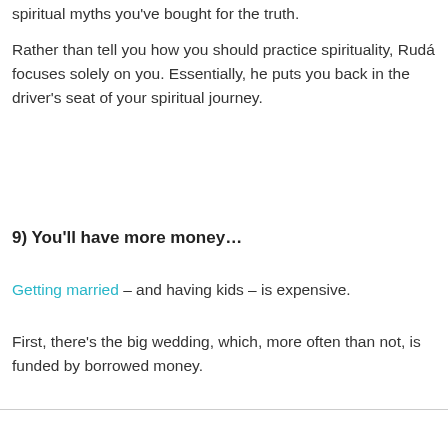spiritual myths you've bought for the truth.
Rather than tell you how you should practice spirituality, Rudá focuses solely on you. Essentially, he puts you back in the driver's seat of your spiritual journey.
9) You'll have more money…
Getting married – and having kids – is expensive.
First, there's the big wedding, which, more often than not, is funded by borrowed money.